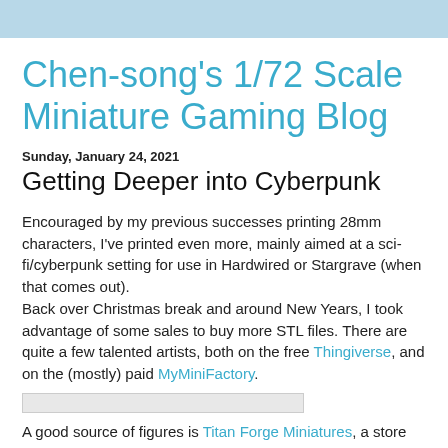Chen-song's 1/72 Scale Miniature Gaming Blog
Sunday, January 24, 2021
Getting Deeper into Cyberpunk
Encouraged by my previous successes printing 28mm characters, I've printed even more, mainly aimed at a sci-fi/cyberpunk setting for use in Hardwired or Stargrave (when that comes out).
Back over Christmas break and around New Years, I took advantage of some sales to buy more STL files. There are quite a few talented artists, both on the free Thingiverse, and on the (mostly) paid MyMiniFactory.
[Figure (other): Image placeholder / thumbnail]
A good source of figures is Titan Forge Miniatures, a store on MyMiniFactory. They have a good range of science fiction, fantasy, and post-apocalyptic figures. The above are their